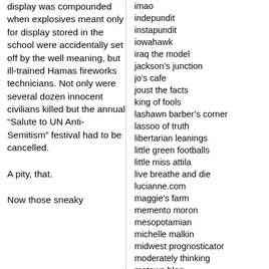display was compounded when explosives meant only for display stored in the school were accidentally set off by the well meaning, but ill-trained Hamas fireworks technicians. Not only were several dozen innocent civilians killed but the annual “Salute to UN Anti-Semitism” festival had to be cancelled.
A pity, that.
Now those sneaky
imao
indepundit
instapundit
iowahawk
iraq the model
jackson’s junction
jo’s cafe
joust the facts
king of fools
lashawn barber’s corner
lassoo of truth
libertarian leanings
little green footballs
little miss attila
live breathe and die
lucianne.com
maggie’s farm
memento moron
mesopotamian
michelle malkin
midwest prognosticator
moderately thinking
motown blog
my vast right wing conspiracy
mypetjawa
nadernow
neocon news
new sisyphus
new world man
north star national
northerncrown
outside the beltway